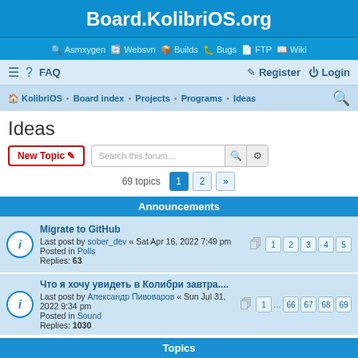Board.KolibriOS.org
Asmxygen | Websvn | Builds | Bugs | FTP | Wiki
≡ FAQ | Register | Login
KolibriOS · Board index · Projects · Programs · Ideas
Ideas
New Topic | Search this forum…
69 topics  1  2  »
Announcements
Migrate to GitHub
Last post by sober_dev « Sat Apr 16, 2022 7:49 pm
Posted in Polls
Replies: 63
Pages: 1 2 3 4 5
Что я хочу увидеть в Колибри завтра....
Last post by Александр Пивоваров « Sun Jul 31, 2022 9:34 pm
Posted in Sound
Replies: 1030
Pages: 1 ... 66 67 68 69
Topics